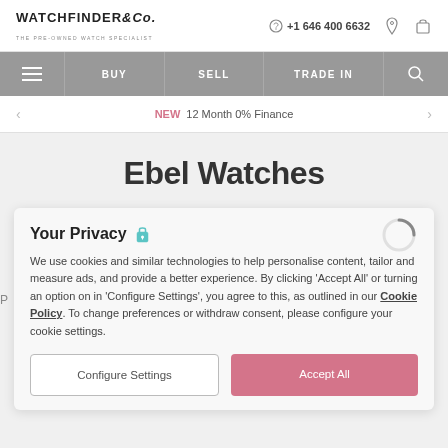WATCHFINDER & Co. THE PRE-OWNED WATCH SPECIALIST | +1 646 400 6632
BUY  SELL  TRADE IN
NEW  12 Month 0% Finance
Ebel Watches
Your Privacy
We use cookies and similar technologies to help personalise content, tailor and measure ads, and provide a better experience. By clicking 'Accept All' or turning an option on in 'Configure Settings', you agree to this, as outlined in our Cookie Policy. To change preferences or withdraw consent, please configure your cookie settings.
Configure Settings
Accept All